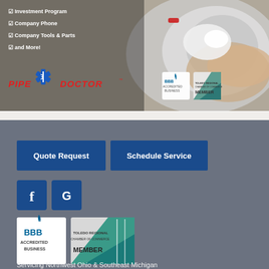[Figure (photo): Pipe Doctor plumbing advertisement banner showing a close-up of chrome faucet/plumbing work, checklist items (Investment Program, Company Phone, Company Tools & Parts, and More!), Pipe Doctor logo in red italic text with blue star-of-life symbol, BBB Accredited Business badge, and Toledo Regional Chamber of Commerce Member badge]
[Figure (infographic): Gray footer section with dark blue 'Quote Request' and 'Schedule Service' buttons, Facebook (f) and Google (G) social media icon buttons in dark blue squares, large BBB Accredited Business logo and Toledo Regional Chamber of Commerce Member logo, and text 'Servicing Northwest Ohio & Southeast Michigan']